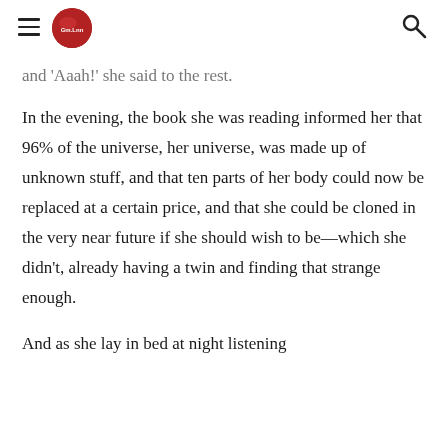[navigation header with hamburger menu, logo, and search icon]
and 'Aaah!' she said to the rest.
In the evening, the book she was reading informed her that 96% of the universe, her universe, was made up of unknown stuff, and that ten parts of her body could now be replaced at a certain price, and that she could be cloned in the very near future if she should wish to be—which she didn't, already having a twin and finding that strange enough.
And as she lay in bed at night listening